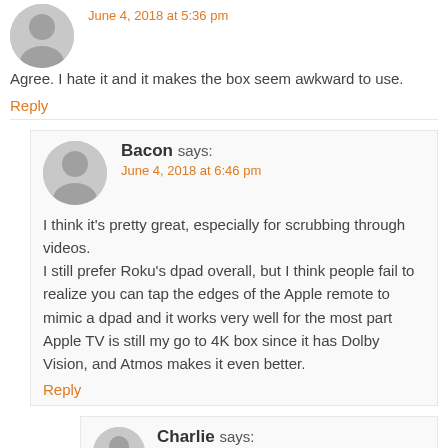June 4, 2018 at 5:36 pm
Agree. I hate it and it makes the box seem awkward to use.
Reply
Bacon says:
June 4, 2018 at 6:46 pm
I think it's pretty great, especially for scrubbing through videos.
I still prefer Roku's dpad overall, but I think people fail to realize you can tap the edges of the Apple remote to mimic a dpad and it works very well for the most part Apple TV is still my go to 4K box since it has Dolby Vision, and Atmos makes it even better.
Reply
Charlie says:
June 4, 2018 at 9:50 pm
OK, so we have finally him, the one guy who likes the Apple TV remote. Apple will be happy to know